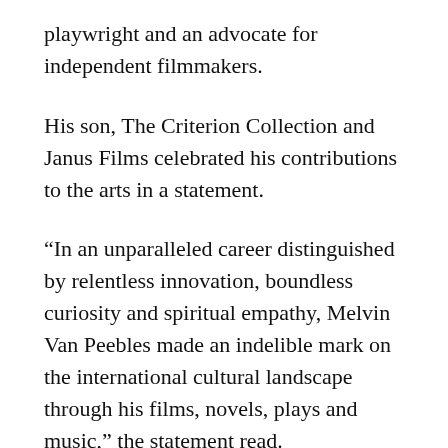playwright and an advocate for independent filmmakers.
His son, The Criterion Collection and Janus Films celebrated his contributions to the arts in a statement.
“In an unparalleled career distinguished by relentless innovation, boundless curiosity and spiritual empathy, Melvin Van Peebles made an indelible mark on the international cultural landscape through his films, novels, plays and music,” the statement read.